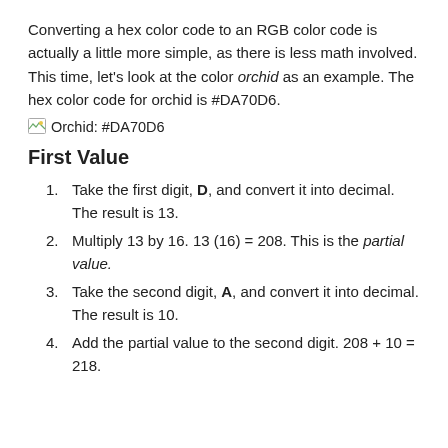Converting a hex color code to an RGB color code is actually a little more simple, as there is less math involved. This time, let’s look at the color orchid as an example. The hex color code for orchid is #DA70D6.
Orchid: #DA70D6
First Value
Take the first digit, D, and convert it into decimal. The result is 13.
Multiply 13 by 16. 13 (16) = 208. This is the partial value.
Take the second digit, A, and convert it into decimal. The result is 10.
Add the partial value to the second digit. 208 + 10 = 218.